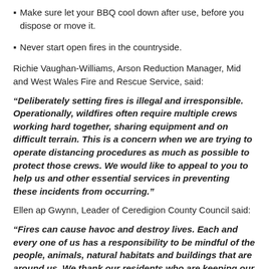Make sure let your BBQ cool down after use, before you dispose or move it.
Never start open fires in the countryside.
Richie Vaughan-Williams, Arson Reduction Manager, Mid and West Wales Fire and Rescue Service, said:
“Deliberately setting fires is illegal and irresponsible. Operationally, wildfires often require multiple crews working hard together, sharing equipment and on difficult terrain. This is a concern when we are trying to operate distancing procedures as much as possible to protect those crews. We would like to appeal to you to help us and other essential services in preventing these incidents from occurring.”
Ellen ap Gwynn, Leader of Ceredigion County Council said:
“Fires can cause havoc and destroy lives. Each and every one of us has a responsibility to be mindful of the people, animals, natural habitats and buildings that are around us. We thank our residents who are keeping our communities strong and resilient during these challenging times by